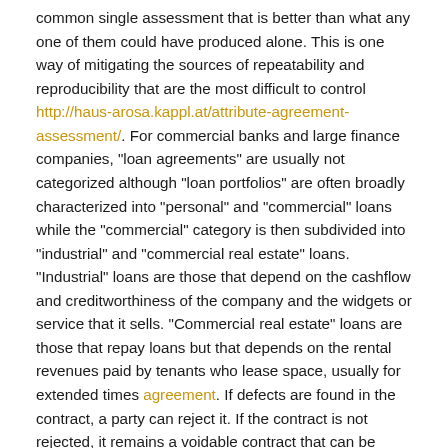common single assessment that is better than what any one of them could have produced alone. This is one way of mitigating the sources of repeatability and reproducibility that are the most difficult to control http://haus-arosa.kappl.at/attribute-agreement-assessment/. For commercial banks and large finance companies, "loan agreements" are usually not categorized although "loan portfolios" are often broadly characterized into "personal" and "commercial" loans while the "commercial" category is then subdivided into "industrial" and "commercial real estate" loans. "Industrial" loans are those that depend on the cashflow and creditworthiness of the company and the widgets or service that it sells. "Commercial real estate" loans are those that repay loans but that depends on the rental revenues paid by tenants who lease space, usually for extended times agreement. If defects are found in the contract, a party can reject it. If the contract is not rejected, it remains a voidable contract that can be ratified. (ii) W enters into a wagering agreement and borrows Its. 100 for the purpose. The main agreement is void but the loan transaction being merely collateral to it is valid even though the creditor is aware of the purpose of the loan. Essentially, the difference between void and